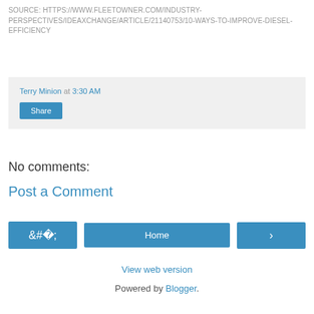SOURCE: HTTPS://WWW.FLEETOWNER.COM/INDUSTRY-PERSPECTIVES/IDEAXCHANGE/ARTICLE/21140753/10-WAYS-TO-IMPROVE-DIESEL-EFFICIENCY
Terry Minion at 3:30 AM
Share
No comments:
Post a Comment
‹  Home  ›
View web version
Powered by Blogger.